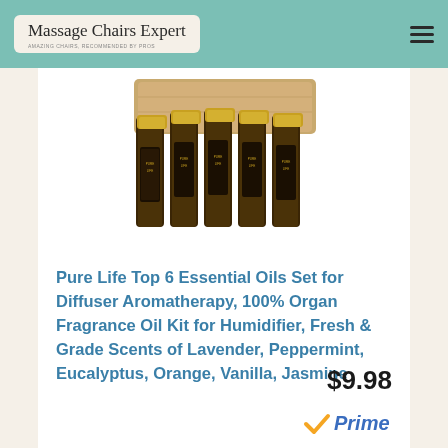Massage Chairs Expert
[Figure (photo): Six dark amber glass essential oil bottles with gold caps arranged in a wooden box/crate holder. The bottles are labeled with gold text and are the Pure Life essential oils set.]
Pure Life Top 6 Essential Oils Set for Diffuser Aromatherapy, 100% Organ Fragrance Oil Kit for Humidifier, Fresh & Grade Scents of Lavender, Peppermint, Eucalyptus, Orange, Vanilla, Jasmine
$9.98
[Figure (logo): Amazon Prime logo with orange checkmark and blue Prime text]